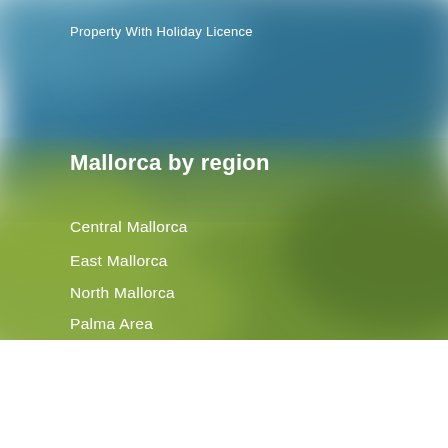Property With Holiday Licence
Mallorca by region
Central Mallorca
East Mallorca
North Mallorca
Palma Area
South Mallorca
South East Mallorca
South West Mallorca
West Mallorca